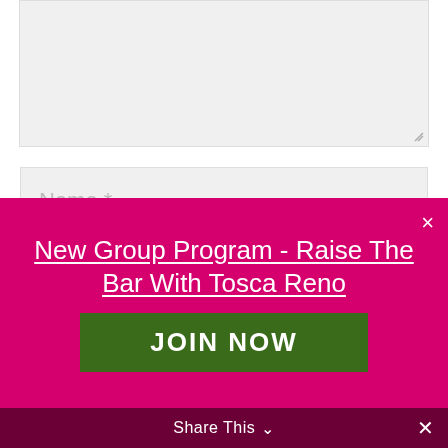[Figure (screenshot): Web form with textarea, Name, Email, and Website input fields]
Name *
Email *
Website
[Figure (screenshot): Pink promotional banner overlay with close X button, title underlined in white: New Group Program - Raise The Bar With Tosca Reno, and a dark green JOIN NOW button]
New Group Program - Raise The Bar With Tosca Reno
JOIN NOW
Share This ∨